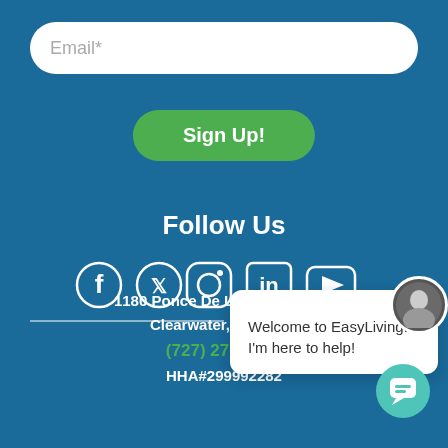Email*
Sign Up!
Follow Us
[Figure (infographic): Social media icons: Facebook, Twitter, Instagram, LinkedIn, YouTube]
[Figure (screenshot): Chat popup with avatar saying: Welcome to EasyLiving. I'm here to help!]
1180 Ponce De Leon Blvd #701
Clearwater, FL 33756
(727) 270-8430
HHA#299992282